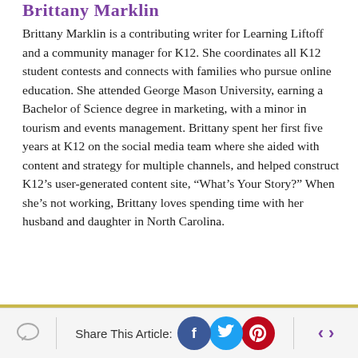Brittany Marklin
Brittany Marklin is a contributing writer for Learning Liftoff and a community manager for K12. She coordinates all K12 student contests and connects with families who pursue online education. She attended George Mason University, earning a Bachelor of Science degree in marketing, with a minor in tourism and events management. Brittany spent her first five years at K12 on the social media team where she aided with content and strategy for multiple channels, and helped construct K12’s user-generated content site, “What’s Your Story?” When she’s not working, Brittany loves spending time with her husband and daughter in North Carolina.
Share This Article: